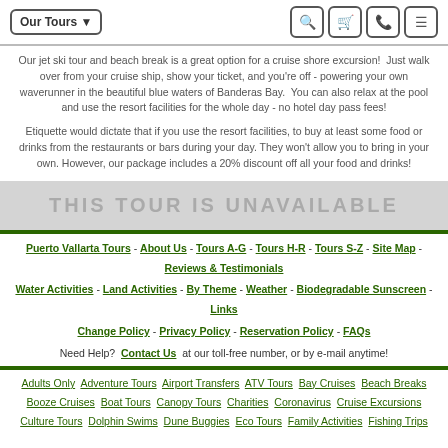Our Tours ▾  [search] [cart] [phone] [menu]
Our jet ski tour and beach break is a great option for a cruise shore excursion!  Just walk over from your cruise ship, show your ticket, and you're off - powering your own waverunner in the beautiful blue waters of Banderas Bay.  You can also relax at the pool and use the resort facilities for the whole day - no hotel day pass fees!
Etiquette would dictate that if you use the resort facilities, to buy at least some food or drinks from the restaurants or bars during your day. They won't allow you to bring in your own. However, our package includes a 20% discount off all your food and drinks!
THIS TOUR IS UNAVAILABLE
Puerto Vallarta Tours - About Us - Tours A-G - Tours H-R - Tours S-Z - Site Map - Reviews & Testimonials
Water Activities - Land Activities - By Theme - Weather - Biodegradable Sunscreen - Links
Change Policy - Privacy Policy - Reservation Policy - FAQs
Need Help? Contact Us at our toll-free number, or by e-mail anytime!
Adults Only  Adventure Tours  Airport Transfers  ATV Tours  Bay Cruises  Beach Breaks  Booze Cruises  Boat Tours  Canopy Tours  Charities  Coronavirus  Cruise Excursions  Culture Tours  Dolphin Swims  Dune Buggies  Eco Tours  Family Activities  Fishing Trips